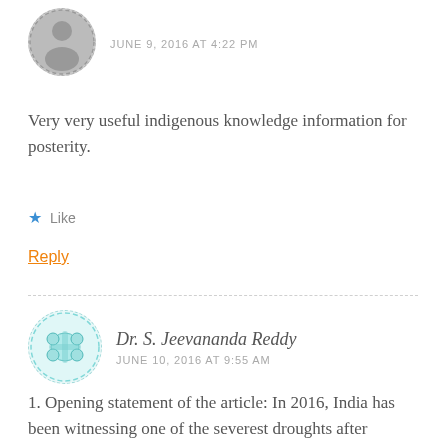JUNE 9, 2016 AT 4:22 PM
Very very useful indigenous knowledge information for posterity.
★ Like
Reply
Dr. S. Jeevananda Reddy
JUNE 10, 2016 AT 9:55 AM
1. Opening statement of the article: In 2016, India has been witnessing one of the severest droughts after independence. — this statement is not based on facts. This is like IPCC global warming type sensationalization